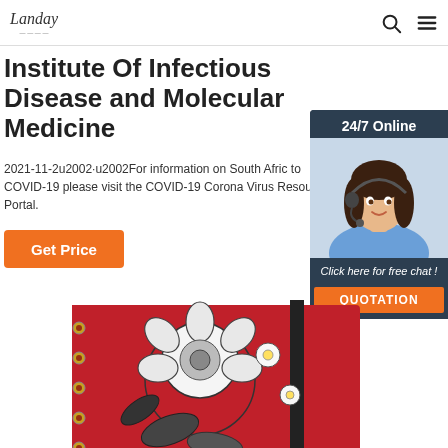Landay [logo] | Search | Menu
Institute Of Infectious Disease and Molecular Medicine
2021-11-2u2002·u2002For information on South Africa to COVID-19 please visit the COVID-19 Corona Virus Resource Portal.
Get Price
[Figure (photo): Customer service agent widget with '24/7 Online' header, photo of woman with headset, 'Click here for free chat!' text, and orange QUOTATION button]
[Figure (photo): Spiral-bound notebook with red and black floral pattern cover (flowers, leaves, birds design)]